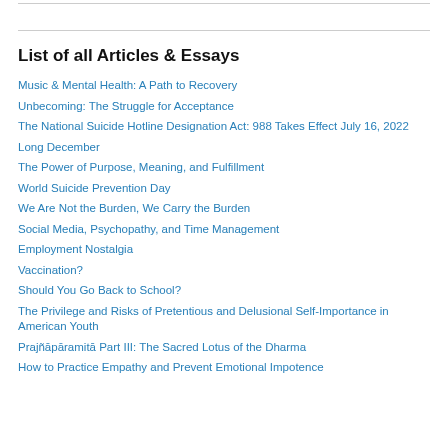List of all Articles & Essays
Music & Mental Health: A Path to Recovery
Unbecoming: The Struggle for Acceptance
The National Suicide Hotline Designation Act: 988 Takes Effect July 16, 2022
Long December
The Power of Purpose, Meaning, and Fulfillment
World Suicide Prevention Day
We Are Not the Burden, We Carry the Burden
Social Media, Psychopathy, and Time Management
Employment Nostalgia
Vaccination?
Should You Go Back to School?
The Privilege and Risks of Pretentious and Delusional Self-Importance in American Youth
Prajñāpāramitā Part III: The Sacred Lotus of the Dharma
How to Practice Empathy and Prevent Emotional Impotence